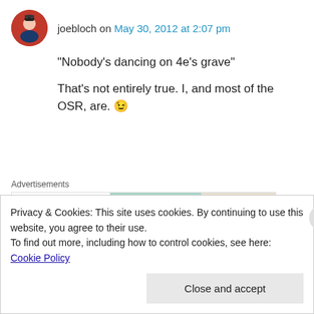joebloch on May 30, 2012 at 2:07 pm
“Nobody’s dancing on 4e’s grave”
That’s not entirely true. I, and most of the OSR, are. 😉
Advertisements
[Figure (other): WordPress VIP advertisement banner with social media logos and Learn more button]
newbiodm on May 30, 2012 at 2:10 pm
Privacy & Cookies: This site uses cookies. By continuing to use this website, you agree to their use.
To find out more, including how to control cookies, see here: Cookie Policy